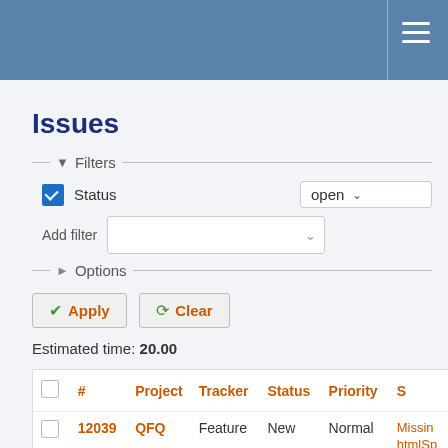Issues
Filters
Status   open
Add filter
Options
Apply   Clear
Estimated time: 20.00
|  | # | Project | Tracker | Status | Priority | S |
| --- | --- | --- | --- | --- | --- | --- |
|  | 12039 | QFQ | Feature | New | Normal | Missing htmlSp in pre on for |
|  |  |  |  |  |  | Manua descri |